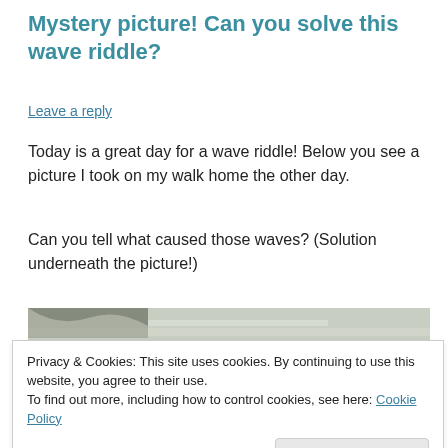Mystery picture! Can you solve this wave riddle?
Leave a reply
Today is a great day for a wave riddle! Below you see a picture I took on my walk home the other day.
Can you tell what caused those waves? (Solution underneath the picture!)
[Figure (photo): Photograph of water with wave patterns, taken outdoors]
Privacy & Cookies: This site uses cookies. By continuing to use this website, you agree to their use.
To find out more, including how to control cookies, see here: Cookie Policy
[Close and accept button]